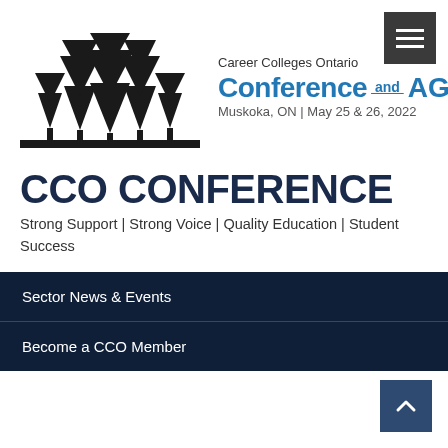[Figure (logo): Career Colleges Ontario Conference and AGM logo with pine trees silhouette on the left and text on the right reading: Career Colleges Ontario, Conference and AGM, Muskoka, ON | May 25 & 26, 2022]
CCO CONFERENCE
Strong Support | Strong Voice | Quality Education | Student Success
Sector News & Events
Become a CCO Member